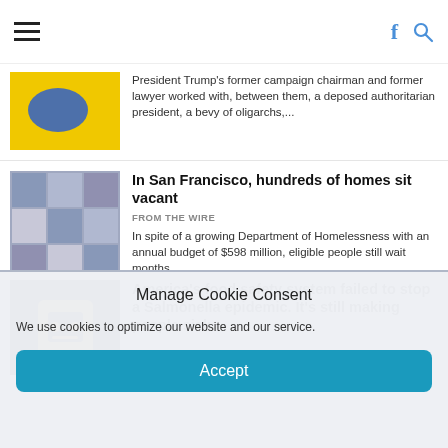Menu | Facebook | Search
President Trump's former campaign chairman and former lawyer worked with, between them, a deposed authoritarian president, a bevy of oligarchs,...
In San Francisco, hundreds of homes sit vacant
FROM THE WIRE
In spite of a growing Department of Homelessness with an annual budget of $598 million, eligible people still wait months...
America's food safety system failed to stop a Salmonella epidemic. It's still making people sick.
Manage Cookie Consent
We use cookies to optimize our website and our service.
Accept